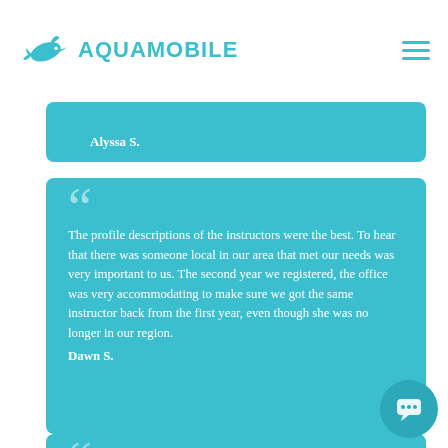AQUAMOBILE
Alyssa S.
The profile descriptions of the instructors were the best. To hear that there was someone local in our area that met our needs was very important to us. The second year we registered, the office was very accommodating to make sure we got the same instructor back from the first year, even though she was no longer in our region. Dawn S.
This is our second year with AquaMobile. We've really enjoyed it so far! Our instructor is GREAT